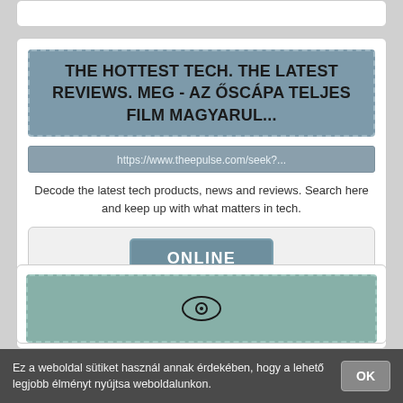THE HOTTEST TECH. THE LATEST REVIEWS. MEG - AZ ŐSCÁPA TELJES FILM MAGYARUL...
https://www.theepulse.com/seek?...
Decode the latest tech products, news and reviews. Search here and keep up with what matters in tech.
[Figure (other): ONLINE button inside a light gray card]
[Figure (other): Eye icon inside a teal dashed banner]
Ez a weboldal sütiket használ annak érdekében, hogy a lehető legjobb élményt nyújtsa weboldalunkon.